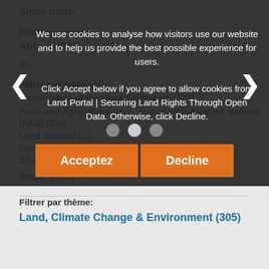Show more
Filtrer par région:
Afrique (201)
Show more
Filtrer par éditeur(s):
Government of the United Kingdom (777)
Food and Agriculture Organization of the United Nations (FAO) (220)
Land Journal (...)
Land Use Policy (19)
Shared Assets (11)
Show more
Filtrer par thème:
Land, Climate Change & Environment (305)
We use cookies to analyse how visitors use our website and to help us provide the best possible experience for users. Click Accept below if you agree to allow cookies from Land Portal | Securing Land Rights Through Open Data. Otherwise, click Decline.